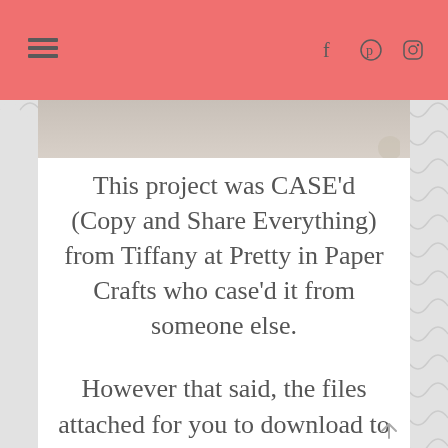Navigation menu and social icons (Facebook, Pinterest, Instagram) on salmon/coral background
[Figure (photo): Partially visible photograph below the header bar]
This project was CASE'd (Copy and Share Everything) from Tiffany at Pretty in Paper Crafts who case'd it from someone else.
However that said, the files attached for you to download to have pictures and instructions were